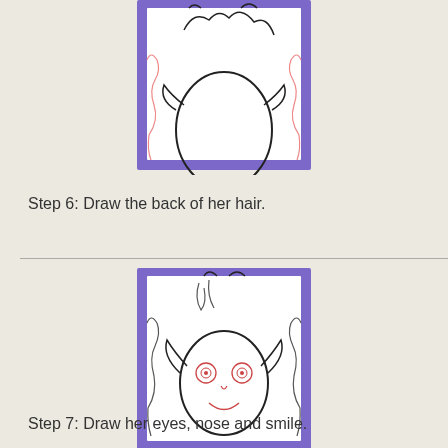[Figure (illustration): Drawing of a cartoon fairy/elf character face with pointy ears and wild hair, shown partially from above, inside a purple-bordered square frame. Step 6 illustration showing back of hair drawn.]
Step 6: Draw the back of her hair.
[Figure (illustration): Drawing of a cartoon fairy/elf character face with pointy ears, wild hair, red spiral eyes, a small nose and a smile, inside a purple-bordered square frame. Step 7 illustration showing eyes, nose and smile added.]
Step 7: Draw her eyes, nose and smile.